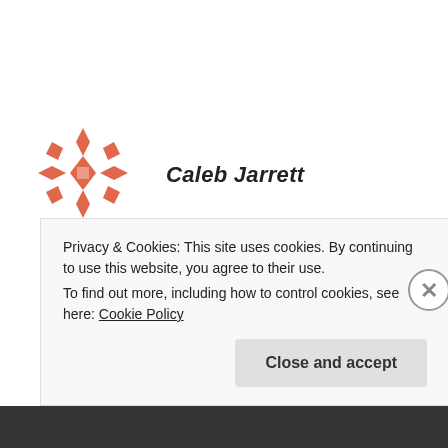[Figure (illustration): Decorative avatar icon: a coral/red geometric snowflake-like pattern with diamond and cross shapes]
Caleb Jarrett
MARCH 24, 2013 AT 3:23 PM
When considering what makes for a successful socio-technical system in the workplace one of the world’s most exceptional examples comes to
Privacy & Cookies: This site uses cookies. By continuing to use this website, you agree to their use.
To find out more, including how to control cookies, see here: Cookie Policy
Close and accept